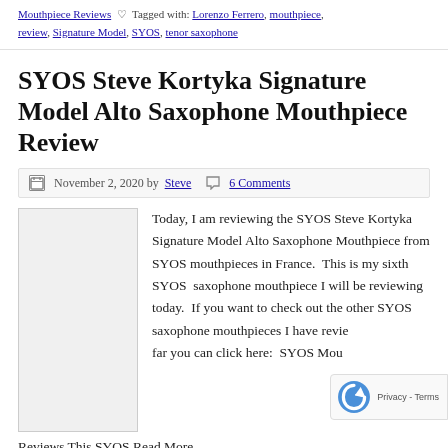Mouthpiece Reviews  Tagged with: Lorenzo Ferrero, mouthpiece, review, Signature Model, SYOS, tenor saxophone
SYOS Steve Kortyka Signature Model Alto Saxophone Mouthpiece Review
November 2, 2020 by Steve  6 Comments
[Figure (photo): Placeholder image for the SYOS Steve Kortyka mouthpiece]
Today, I am reviewing the SYOS Steve Kortyka Signature Model Alto Saxophone Mouthpiece from SYOS mouthpieces in France.  This is my sixth SYOS  saxophone mouthpiece I will be reviewing today.  If you want to check out the other SYOS saxophone mouthpieces I have reviewed so far you can click here:  SYOS Mouthpiece Reviews This SYOS Read More